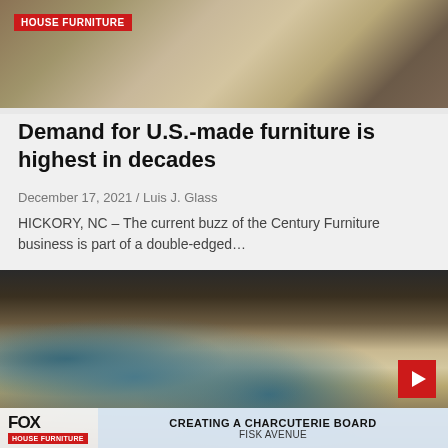[Figure (screenshot): Top image showing furniture store interior with various chairs and fabric samples. Red badge reading HOUSE FURNITURE overlaid on top-left.]
Demand for U.S.-made furniture is highest in decades
December 17, 2021 / Luis J. Glass
HICKORY, NC – The current buzz of the Century Furniture business is part of a double-edged…
[Figure (screenshot): Video thumbnail showing a wooden charcuterie board being crafted with blue resin/paint, cups of blue liquid nearby. Lower bar shows CREATING A CHARCUTERIE BOARD / FISK AVENUE with FOX logo and HOUSE FURNITURE badge. Red play button on right side.]